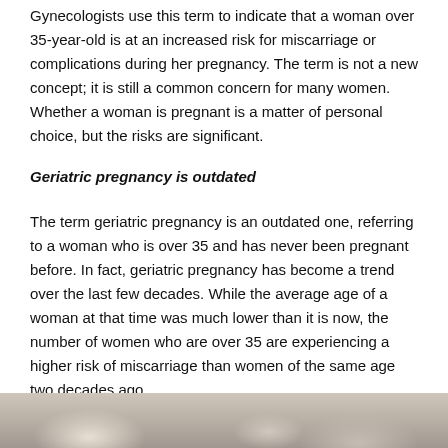Gynecologists use this term to indicate that a woman over 35-year-old is at an increased risk for miscarriage or complications during her pregnancy. The term is not a new concept; it is still a common concern for many women. Whether a woman is pregnant is a matter of personal choice, but the risks are significant.
Geriatric pregnancy is outdated
The term geriatric pregnancy is an outdated one, referring to a woman who is over 35 and has never been pregnant before. In fact, geriatric pregnancy has become a trend over the last few decades. While the average age of a woman at that time was much lower than it is now, the number of women who are over 35 are experiencing a higher risk of miscarriage than women of the same age two decades ago.
[Figure (photo): Partial photo visible at the bottom of the page, showing soft blurred tones suggesting an outdoor or nature scene]